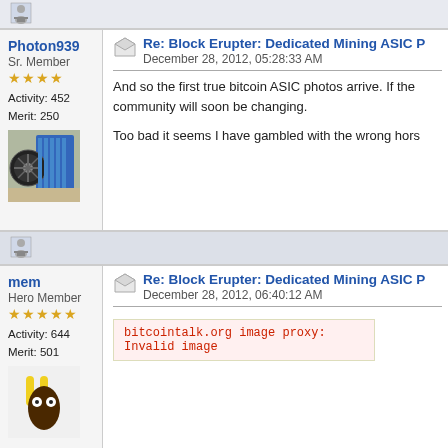[Figure (illustration): User icon / avatar placeholder at top of page]
Photon939
Sr. Member
Activity: 452
Merit: 250
Re: Block Erupter: Dedicated Mining ASIC P
December 28, 2012, 05:28:33 AM
And so the first true bitcoin ASIC photos arrive. If the community will soon be changing.

Too bad it seems I have gambled with the wrong hors
[Figure (photo): Photo of mining hardware, appears to show a blue device with fans/heatsinks]
[Figure (illustration): User icon / avatar placeholder between posts]
mem
Hero Member
Activity: 644
Merit: 501
Re: Block Erupter: Dedicated Mining ASIC P
December 28, 2012, 06:40:12 AM
bitcointalk.org image proxy:
Invalid image
[Figure (photo): Avatar image showing a minion-like character with yellow hair]